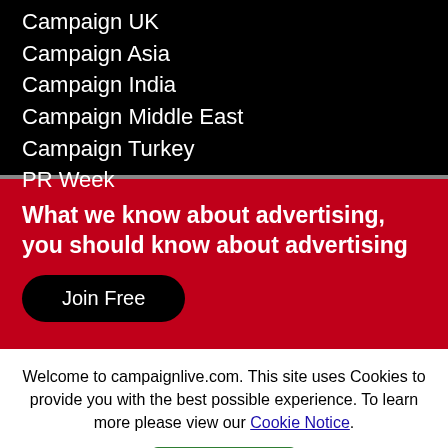Campaign UK
Campaign Asia
Campaign India
Campaign Middle East
Campaign Turkey
PR Week
What we know about advertising, you should know about advertising
Join Free
Welcome to campaignlive.com. This site uses Cookies to provide you with the best possible experience. To learn more please view our Cookie Notice.
Close